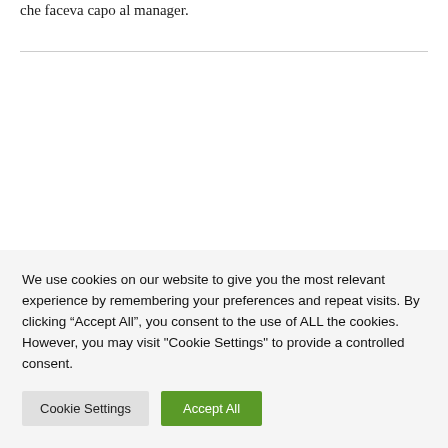che faceva capo al manager.
We use cookies on our website to give you the most relevant experience by remembering your preferences and repeat visits. By clicking “Accept All”, you consent to the use of ALL the cookies. However, you may visit "Cookie Settings" to provide a controlled consent.